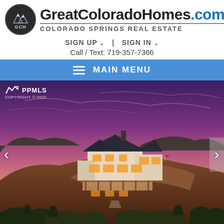GreatColoradoHomes.com — COLORADO SPRINGS REAL ESTATE
SIGN UP ∨ | SIGN IN ∨
Call / Text: 719-357-7366
MAIN MENU
[Figure (photo): Luxury home on a rocky hilltop at dusk with purple/pink sky, illuminated windows, multiple decks and balconies. PPMLS COPYRIGHT © 2022 watermark in top-left corner. Navigation arrows on left and right sides.]